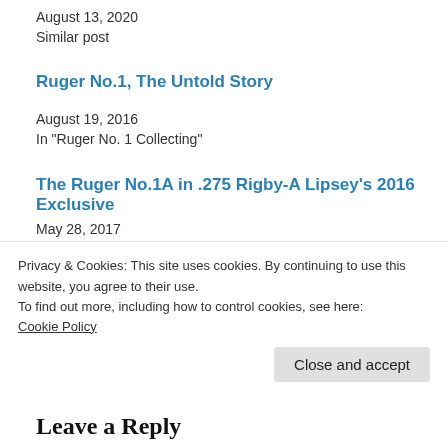August 13, 2020
Similar post
Ruger No.1, The Untold Story
August 19, 2016
In "Ruger No. 1 Collecting"
The Ruger No.1A in .275 Rigby-A Lipsey's 2016 Exclusive
May 28, 2017
In "Hunting and Shooting"
Privacy & Cookies: This site uses cookies. By continuing to use this website, you agree to their use.
To find out more, including how to control cookies, see here:
Cookie Policy
Close and accept
Leave a Reply